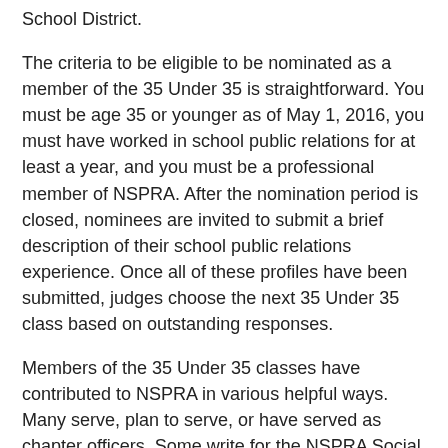School District.
The criteria to be eligible to be nominated as a member of the 35 Under 35 is straightforward. You must be age 35 or younger as of May 1, 2016, you must have worked in school public relations for at least a year, and you must be a professional member of NSPRA. After the nomination period is closed, nominees are invited to submit a brief description of their school public relations experience. Once all of these profiles have been submitted, judges choose the next 35 Under 35 class based on outstanding responses.
Members of the 35 Under 35 classes have contributed to NSPRA in various helpful ways. Many serve, plan to serve, or have served as chapter officers. Some write for the NSPRA Social School PR blog, have presented at NSPRA Seminars, or participated as panelists for PR Power Hours. Their insight is invaluable in keeping NSPRA on the forefront of